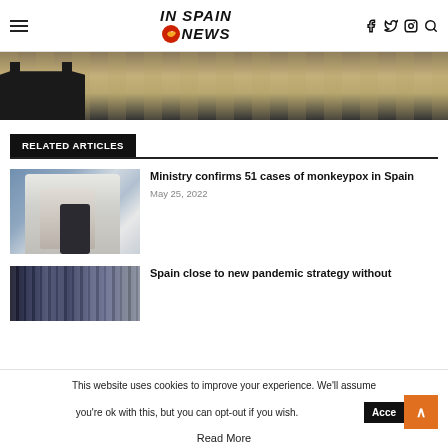IN SPAIN NEWS
[Figure (photo): Outdoor pool deck area with wooden decking and dark furniture, partial view]
RELATED ARTICLES
[Figure (photo): Scientist in white lab coat looking through microscope]
Ministry confirms 51 cases of monkeypox in Spain
May 25, 2022
[Figure (photo): Books or file folders in dark tones]
Spain close to new pandemic strategy without
This website uses cookies to improve your experience. We'll assume you're ok with this, but you can opt-out if you wish.
Read More